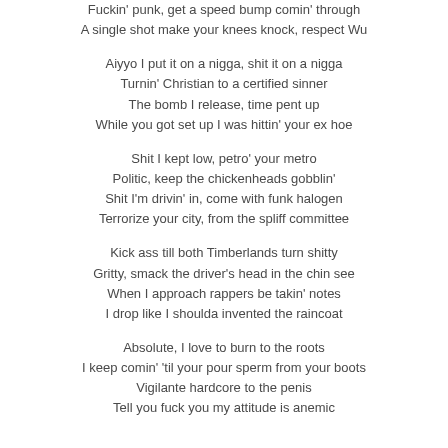Fuckin' punk, get a speed bump comin' through
A single shot make your knees knock, respect Wu
Aiyyo I put it on a nigga, shit it on a nigga
Turnin' Christian to a certified sinner
The bomb I release, time pent up
While you got set up I was hittin' your ex hoe
Shit I kept low, petro' your metro
Politic, keep the chickenheads gobblin'
Shit I'm drivin' in, come with funk halogen
Terrorize your city, from the spliff committee
Kick ass till both Timberlands turn shitty
Gritty, smack the driver's head in the chin see
When I approach rappers be takin' notes
I drop like I shoulda invented the raincoat
Absolute, I love to burn to the roots
I keep comin' 'til your pour sperm from your boots
Vigilante hardcore to the penis
Tell you fuck you my attitude is anemic